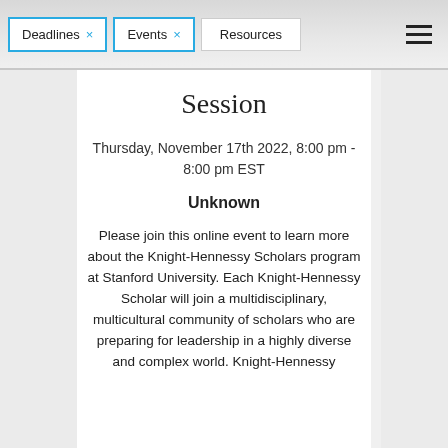Deadlines × Events × Resources
Session
Thursday, November 17th 2022, 8:00 pm -
8:00 pm EST
Unknown
Please join this online event to learn more about the Knight-Hennessy Scholars program at Stanford University. Each Knight-Hennessy Scholar will join a multidisciplinary, multicultural community of scholars who are preparing for leadership in a highly diverse and complex world. Knight-Hennessy